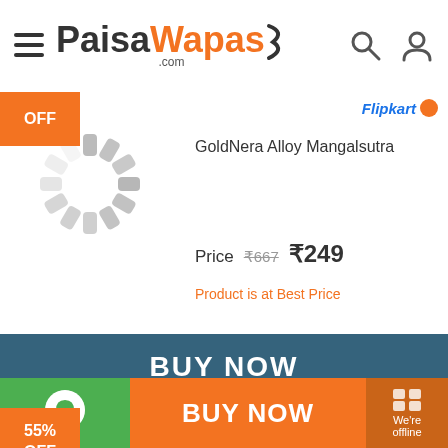PaisaWapas.com
[Figure (logo): PaisaWapas.com logo with hamburger menu, search icon, and user icon]
OFF
[Figure (illustration): Loading spinner / circular progress indicator (gray)]
Flipkart
GoldNera Alloy Mangalsutra
Price  ₹667  ₹249
Product is at Best Price
BUY NOW
55% OFF
[Figure (illustration): Loading spinner / circular progress indicator (gray)]
Flipkart
Sukkhi Alloy Mangalsutra
Price  ₹1205  ₹539
BUY NOW (orange bar at bottom)